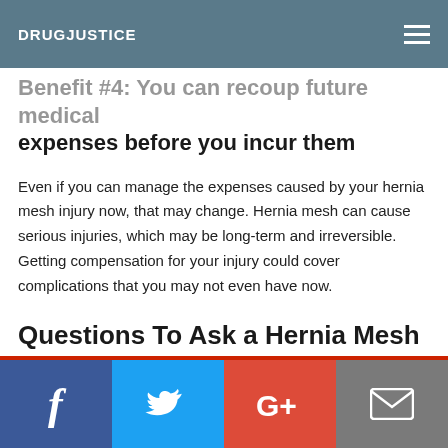DRUGJUSTICE
Benefit #4: You can recoup future medical expenses before you incur them
Even if you can manage the expenses caused by your hernia mesh injury now, that may change. Hernia mesh can cause serious injuries, which may be long-term and irreversible. Getting compensation for your injury could cover complications that you may not even have now.
Questions To Ask a Hernia Mesh Lawyer Before Moving Forward With Your Claim